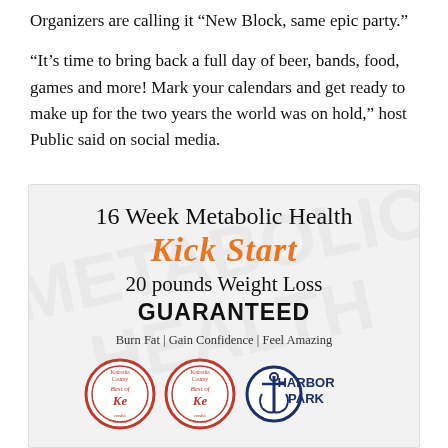Organizers are calling it “New Block, same epic party.”
“It’s time to bring back a full day of beer, bands, food, games and more! Mark your calendars and get ready to make up for the two years the world was on hold,” host Public said on social media.
[Figure (infographic): Advertisement for 16 Week Metabolic Health Kick Start program. Text reads: '16 Week Metabolic Health KICK START 20 pounds Weight Loss GUARANTEED. Burn Fat | Gain Confidence | Feel Amazing.' Logos for Best of Kenosha County (two badges) and Harbor Park are shown at the bottom.]